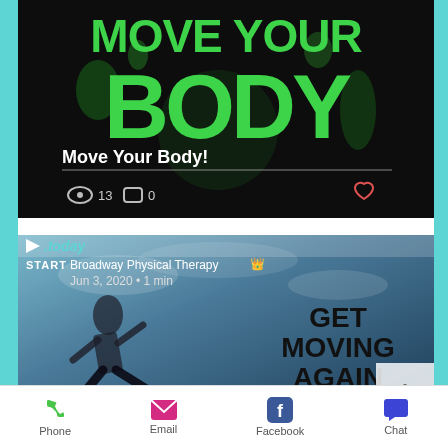[Figure (screenshot): Dark background fitness post with large green grunge text reading 'MOVE YOUR BODY', subtitle 'Move Your Body!', view count 13, comment count 0, and a heart icon.]
[Figure (screenshot): Broadway Physical Therapy blog post card with a runner photo and 'GET MOVING AGAIN' text overlay, dated Jun 3, 2020, 1 min read.]
[Figure (screenshot): Mobile app bottom navigation bar with Phone, Email, Facebook, and Chat icons.]